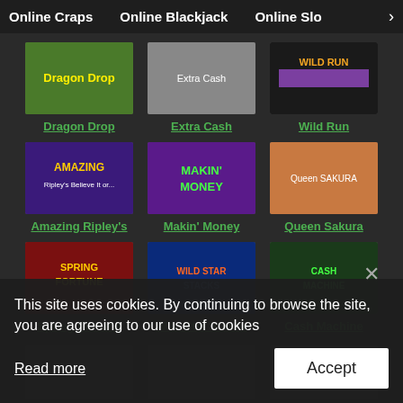Online Craps  Online Blackjack  Online Slo >
[Figure (screenshot): Grid of online slot game thumbnails and titles: Dragon Drop, Extra Cash, Wild Run, Amazing Ripley's, Makin' Money, Queen Sakura, Spring Fortune, Wild Star Stacks, Cash Machine]
This site uses cookies. By continuing to browse the site, you are agreeing to our use of cookies
Read more
Accept